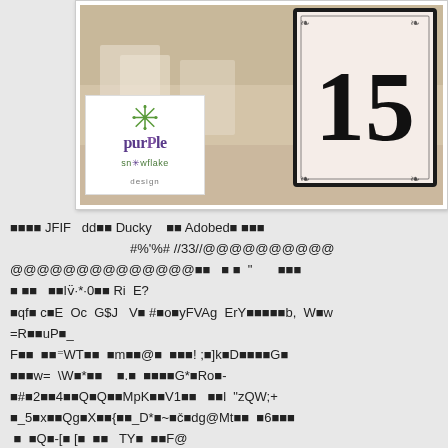[Figure (photo): A photograph showing a table number card with the number 15 in a decorative black border frame, blurred background with similar cards. A Purple Snowflake Design logo is overlaid in the lower left corner of the photo.]
���� JFIF  dd�� Ducky  �� Adobed� ���                   #%'%# //33//@@@@@@@@@@@@@@@@@@@@@@@@@@  ò ò  "      ���  ò ��  ��lv̈*·0�� Ri E? ·qf· c·E Oc G$J  V· #·o·yFVAg ErY·····b, W·w =R··uP·_ F··  ··⤑WT··  ·m··@·  ···! ;·]k·D·····G· ·····= \W·*··    ·.·  ·····G*·Ro·- ·#·2··4··Q·Q··MpK··V1··   ··l "zQW;+ ·_5·x··Qg·X··{··_D*·~·č·dg@Mt··  ·6···· ·  ·Q·-[·[·  ··  TY·  ··F@ ·······  ··cl·  bn·%·   ·R···!·  1;  ·#·····$i